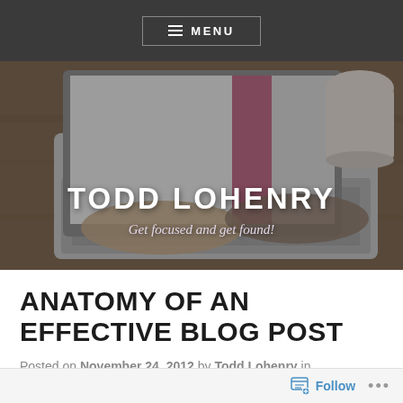MENU
[Figure (photo): Person typing on a laptop computer on a wooden desk, with a coffee mug in the background. Overlay text reads TODD LOHENRY / Get focused and get found!]
TODD LOHENRY
Get focused and get found!
ANATOMY OF AN EFFECTIVE BLOG POST
Posted on November 24, 2012 by Todd Lohenry in Blogging
Follow ...